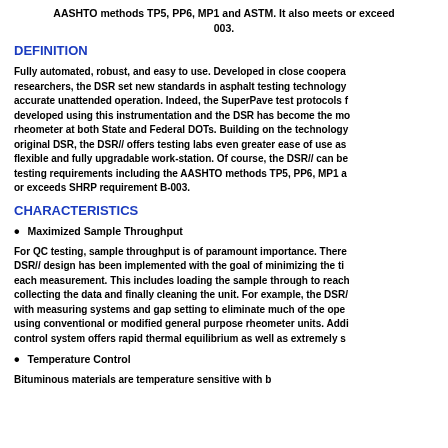AASHTO methods TP5, PP6, MP1 and ASTM. It also meets or exceeds SHRP requirement B-003.
DEFINITION
Fully automated, robust, and easy to use. Developed in close cooperation with researchers, the DSR set new standards in asphalt testing technology for accurate unattended operation. Indeed, the SuperPave test protocols for were developed using this instrumentation and the DSR has become the most used rheometer at both State and Federal DOTs. Building on the technology of the original DSR, the DSR// offers testing labs even greater ease of use as a flexible and fully upgradable work-station. Of course, the DSR// can be testing requirements including the AASHTO methods TP5, PP6, MP1 and or exceeds SHRP requirement B-003.
CHARACTERISTICS
Maximized Sample Throughput
For QC testing, sample throughput is of paramount importance. There DSR// design has been implemented with the goal of minimizing the time each measurement. This includes loading the sample through to reach collecting the data and finally cleaning the unit. For example, the DSR// with measuring systems and gap setting to eliminate much of the operator using conventional or modified general purpose rheometer units. Additional control system offers rapid thermal equilibrium as well as extremely stable
Temperature Control
Bituminous materials are temperature sensitive with b